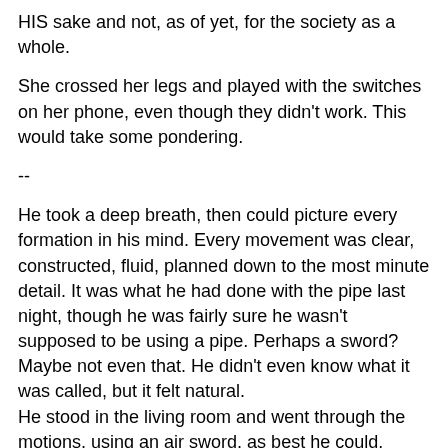HIS sake and not, as of yet, for the society as a whole.
She crossed her legs and played with the switches on her phone, even though they didn't work. This would take some pondering.
--
He took a deep breath, then could picture every formation in his mind. Every movement was clear, constructed, fluid, planned down to the most minute detail. It was what he had done with the pipe last night, though he was fairly sure he wasn't supposed to be using a pipe. Perhaps a sword? Maybe not even that. He didn't even know what it was called, but it felt natural.
He stood in the living room and went through the motions, using an air sword, as best he could. Jason was still asleep, notably snoring and taking up the entire couch bed. Normally he would have made noise with each movement, but Matsumoto didn't want to invoke Jason's wrath just yet. That could wait until after breakfast --
He suddenly got an idea. He still didn't like Milaya's attitude